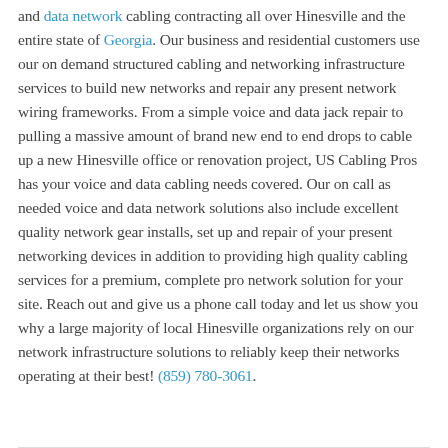and data network cabling contracting all over Hinesville and the entire state of Georgia. Our business and residential customers use our on demand structured cabling and networking infrastructure services to build new networks and repair any present network wiring frameworks. From a simple voice and data jack repair to pulling a massive amount of brand new end to end drops to cable up a new Hinesville office or renovation project, US Cabling Pros has your voice and data cabling needs covered. Our on call as needed voice and data network solutions also include excellent quality network gear installs, set up and repair of your present networking devices in addition to providing high quality cabling services for a premium, complete pro network solution for your site. Reach out and give us a phone call today and let us show you why a large majority of local Hinesville organizations rely on our network infrastructure solutions to reliably keep their networks operating at their best! (859) 780-3061.